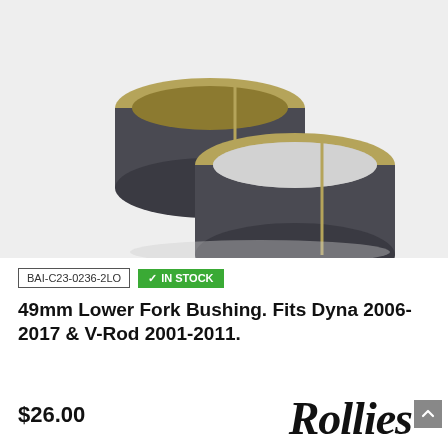[Figure (photo): Two cylindrical fork bushings made of dark metal with bronze/brass inner lining, shown overlapping on a light grey background. The bushings are ring-shaped with a gap cut on one side.]
BAI-C23-0236-2LO
✓ IN STOCK
49mm Lower Fork Bushing. Fits Dyna 2006-2017 & V-Rod 2001-2011.
$26.00
[Figure (logo): Rollies logo in bold italic black script font]